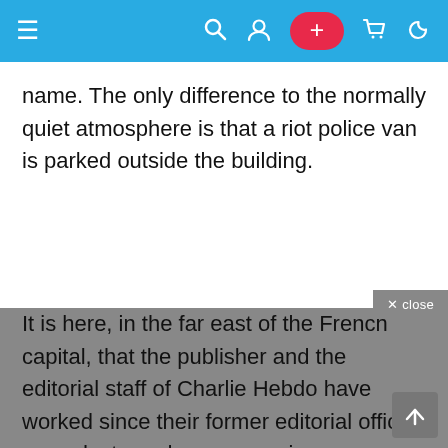[Figure (screenshot): Mobile app navigation bar with hamburger menu on left, search/user icons in center-right, red plus button, cart and moon icons on right, all on blue background]
name. The only difference to the normally quiet atmosphere is that a riot police van is parked outside the building.
It is here, in the far east of the French capital, that the publisher and the editorial staff of Charlie Hebdo have worked since their former editorial offices were destroyed a year ago in an arson attack.Although no one claimed responsibility for the crime, it was apparently motivated by cartoons about Islam that the magazine had published in a special issue under the polemical title “Charia Hebdo,” a reference to Islamic Sharia law.